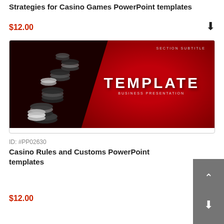Strategies for Casino Games PowerPoint templates
$12.00
[Figure (screenshot): PowerPoint template preview showing casino chips on dark red background with text TEMPLATE and BUSINESS PRESENTATION, SECTION SUBTITLE]
ID: #PP02630
Casino Rules and Customs PowerPoint templates
$12.00